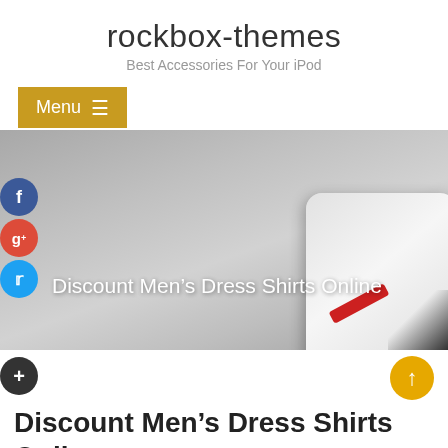rockbox-themes
Best Accessories For Your iPod
Menu ☰
[Figure (screenshot): Hero banner showing a gray background with an iPod-like device, white text reading 'Discount Men’s Dress Shirts Online', and social share icons (Facebook, Google+, Twitter, Add) on the left side.]
Discount Men’s Dress Shirts Online